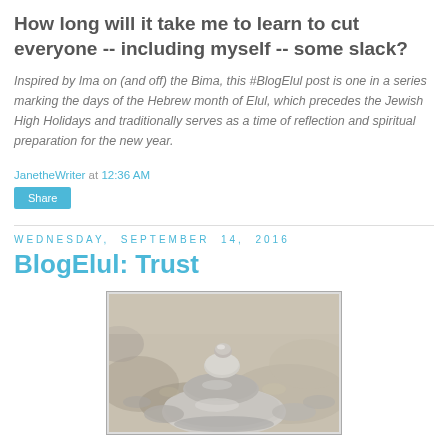How long will it take me to learn to cut everyone -- including myself -- some slack?
Inspired by Ima on (and off) the Bima, this #BlogElul post is one in a series marking the days of the Hebrew month of Elul, which precedes the Jewish High Holidays and traditionally serves as a time of reflection and spiritual preparation for the new year.
JanetheWriter at 12:36 AM
Share
Wednesday, September 14, 2016
BlogElul: Trust
[Figure (photo): Stacked smooth river stones/pebbles balanced on top of each other, close-up photography with blurred background]